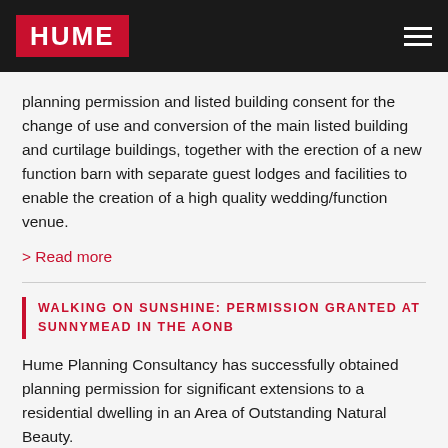[Figure (logo): HUME logo in white text on red background, in dark header bar with hamburger menu]
planning permission and listed building consent for the change of use and conversion of the main listed building and curtilage buildings, together with the erection of a new function barn with separate guest lodges and facilities to enable the creation of a high quality wedding/function venue.
> Read more
WALKING ON SUNSHINE: PERMISSION GRANTED AT SUNNYMEAD IN THE AONB
Hume Planning Consultancy has successfully obtained planning permission for significant extensions to a residential dwelling in an Area of Outstanding Natural Beauty.